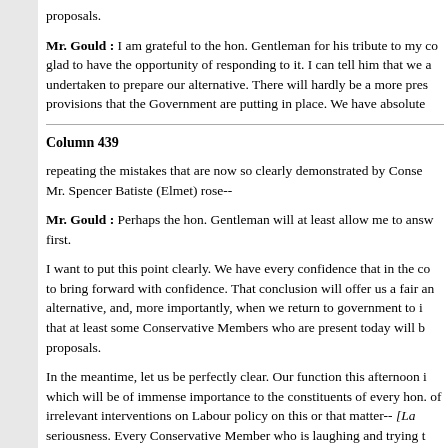proposals.
Mr. Gould : I am grateful to the hon. Gentleman for his tribute to my co glad to have the opportunity of responding to it. I can tell him that we a undertaken to prepare our alternative. There will hardly be a more pres provisions that the Government are putting in place. We have absolute
Column 439
repeating the mistakes that are now so clearly demonstrated by Conse Mr. Spencer Batiste (Elmet) rose--
Mr. Gould : Perhaps the hon. Gentleman will at least allow me to answ first.
I want to put this point clearly. We have every confidence that in the co to bring forward with confidence. That conclusion will offer us a fair an alternative, and, more importantly, when we return to government to i that at least some Conservative Members who are present today will b proposals.
In the meantime, let us be perfectly clear. Our function this afternoon i which will be of immense importance to the constituents of every hon. of irrelevant interventions on Labour policy on this or that matter-- [La seriousness. Every Conservative Member who is laughing and trying t embarrassment felt on their Benches about the debate and the scruti
Mr. Chris Patten : Will the hon. Gentleman tell the House what happe one to last?
Mr. Deputy Speaker : Order. I remind the House that we are debating